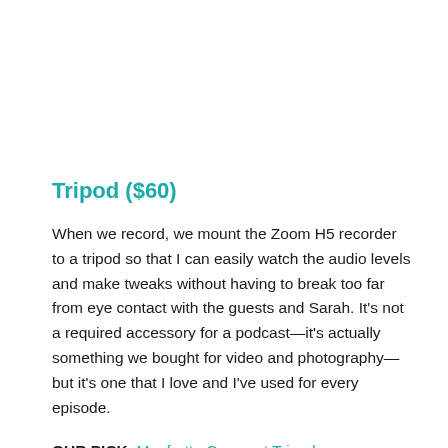Tripod ($60)
When we record, we mount the Zoom H5 recorder to a tripod so that I can easily watch the audio levels and make tweaks without having to break too far from eye contact with the guests and Sarah. It's not a required accessory for a podcast—it's actually something we bought for video and photography—but it's one that I love and I've used for every episode.
OUR PICK: Manfrotto Compact Tripod